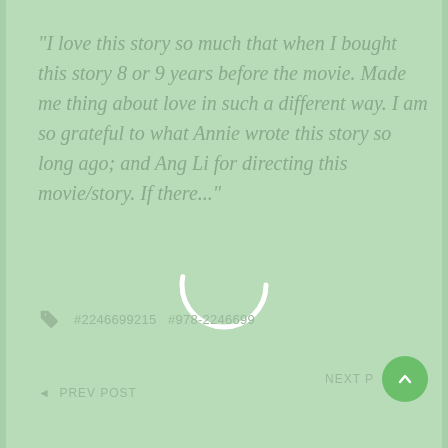"I love this story so much that when I bought this story 8 or 9 years before the movie. Made me thing about love in such a different way. I am so grateful to what Annie wrote this story so long ago; and Ang Li for directing this movie/story. If there..."
[Figure (other): Loading spinner circle (white arc on green background)]
#2246699215   #978-2246699
◄  PREV POST
NEXT P
[Figure (other): Green circular button with upward arrow]